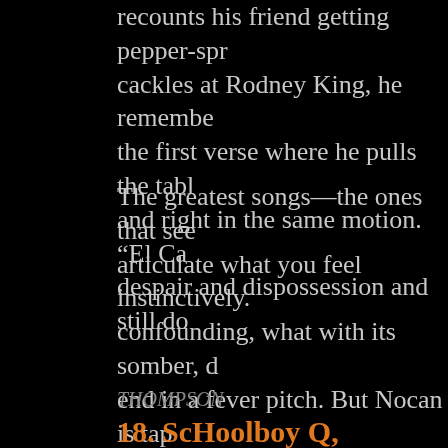recounts his friend getting pepper-spr cackles at Rodney King, he remembe the first verse where he pulls the tabl and right in the same motion. “El Ca despair and dispossession and still do
The greatest songs—the ones that see articulate what you feel instinctively. confounding, what with its somber, d end in a fever pitch. But Nocan is tap you’ve never hauled illicit packages t you know what the Regal/Honda dich those who think the city might as wel
THOMPSON
18. ScHoolboy Q, “Groovy Tony/Ec